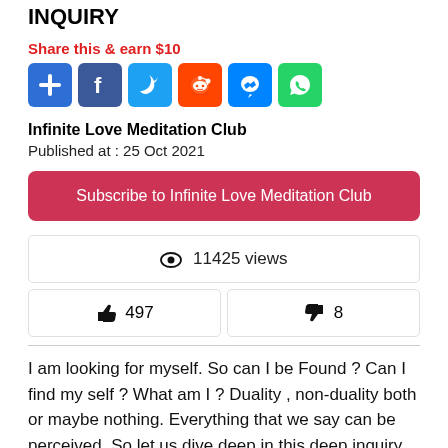Duality or Non-duality Or Both ? DEEP INQUIRY
Share this & earn $10
[Figure (other): Social share icons: Plus, Facebook, Twitter, Reddit, Messenger, WhatsApp]
Infinite Love Meditation Club
Published at : 25 Oct 2021
Subscribe to Infinite Love Meditation Club
👁 11425 views
👍 497    👎 8
I am looking for myself. So can I be Found ? Can I find my self ? What am I ? Duality , non-duality both or maybe nothing. Everything that we say can be perceived. So let us dive deep in this deep inquiry with Mooji and inquire into this questions for ourselves